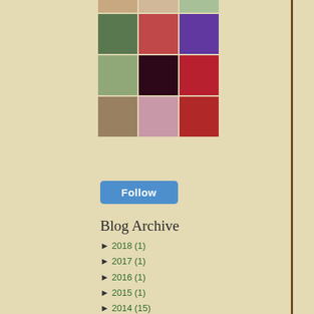[Figure (photo): Grid of follower thumbnail photos arranged in rows]
Follow
Blog Archive
► 2018 (1)
► 2017 (1)
► 2016 (1)
► 2015 (1)
► 2014 (15)
► 2013 (59)
► 2012 (149)
▼ 2011 (186)
► December (16)
▼ November (16)
A Childlike Christmas
A trip into the past at the
Serenata said... Wonderful Floss, what a brill... hear you are spending Christr... November 28, 2011 at 6:11 PM
polkadotpeticoat said... I love Advent.......what a reaso... November 28, 2011 at 6:42 PM
Ruth Fraser Davis said... All so very special. Such a wi... to come my grandchildren wi... Something to ponder.... November 29, 2011 at 5:40 AM
Anonymous said... What a lovely post and poem... November 30, 2011 at 11:51 PM
Post a Comment
Newer Post
Ho